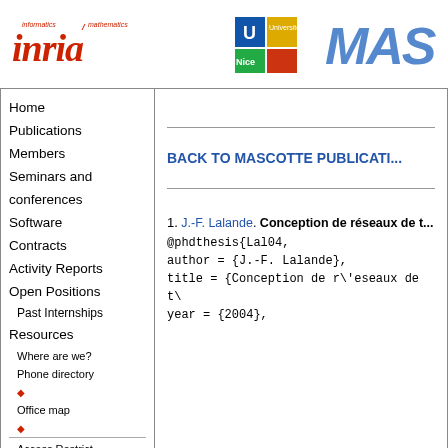[Figure (logo): INRIA logo with text 'informatics mathematics']
[Figure (logo): Université Nice logo]
[Figure (logo): MAS text logo in blue italic]
Home
Publications
Members
Seminars and conferences
Software
Contracts
Activity Reports
Open Positions
Past Internships
Resources
Where are we?
Phone directory
Office map
BACK TO MASCOTTE PUBLICATIONS
1. J.-F. Lalande. Conception de réseaux de t...
@phdthesis{Lal04,
author = {J.-F. Lalande},
title = {Conception de r\'eseaux de t\
year = {2004},